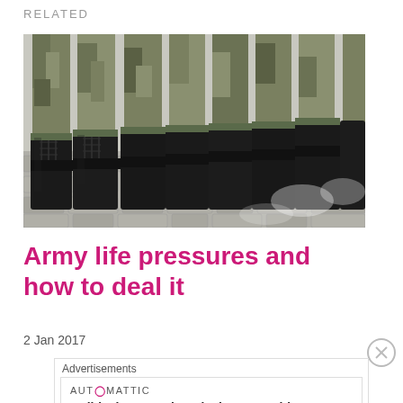RELATED
[Figure (photo): Row of soldiers in camouflage uniforms showing their black military boots standing on cobblestones, viewed from the knees down.]
Army life pressures and how to deal it
2 Jan 2017
Advertisements
AUTOMATTIC
Build a better web and a better world.